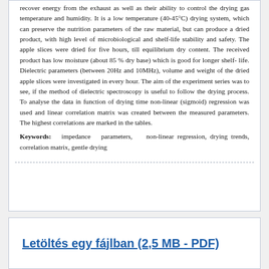recover energy from the exhaust as well as their ability to control the drying gas temperature and humidity. It is a low temperature (40-45°C) drying system, which can preserve the nutrition parameters of the raw material, but can produce a dried product, with high level of microbiological and shelf-life stability and safety. The apple slices were dried for five hours, till equilibrium dry content. The received product has low moisture (about 85 % dry base) which is good for longer shelf-life. Dielectric parameters (between 20Hz and 10MHz), volume and weight of the dried apple slices were investigated in every hour. The aim of the experiment series was to see, if the method of dielectric spectroscopy is useful to follow the drying process. To analyse the data in function of drying time non-linear (sigmoid) regression was used and linear correlation matrix was created between the measured parameters. The highest correlations are marked in the tables.
Keywords: impedance parameters, non-linear regression, drying trends, correlation matrix, gentle drying
Letöltés egy fájlban (2,5 MB - PDF)